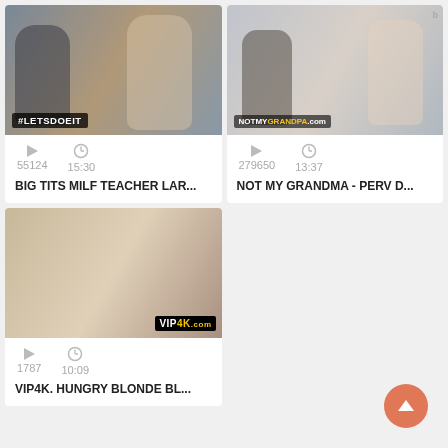[Figure (screenshot): Video thumbnail with #LETSDOEIT watermark, two people]
55124   15:30
BIG TITS MILF TEACHER LAR...
[Figure (screenshot): Video thumbnail with NOTMYGRANDPA.com watermark]
279650   13:37
NOT MY GRANDMA - PERV D...
[Figure (screenshot): Video thumbnail with VIP4K.com watermark]
1787   10:09
VIP4K. HUNGRY BLONDE BL...